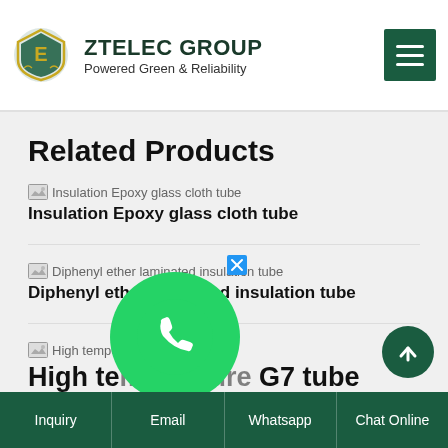ZTELEC GROUP — Powered Green & Reliability
Related Products
Insulation Epoxy glass cloth tube
Diphenyl ether laminated insulation tube
High temperature G7 tube
Inquiry | Email | Whatsapp | Chat Online